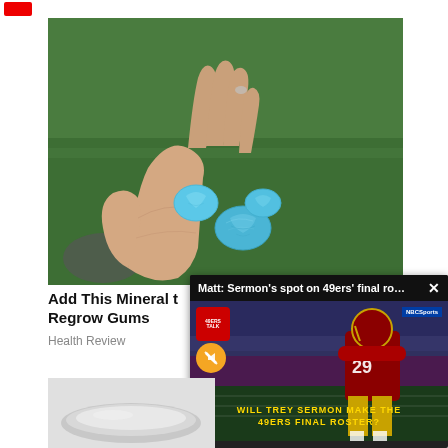[Figure (photo): A hand holding three turquoise/blue mineral stones against a green grass background]
Add This Mineral to Regrow Gums
Health Review
[Figure (screenshot): Video popup overlay showing '49ers Talk' sports segment with title 'Matt: Sermon's spot on 49ers' final rost...' and text 'WILL TREY SERMON MAKE THE 49ERS FINAL ROSTER?' with a football player in red and gold uniform, NBCSports logo, and a yellow mute button]
[Figure (photo): Partial view of a second article image, appears to show a silver object]